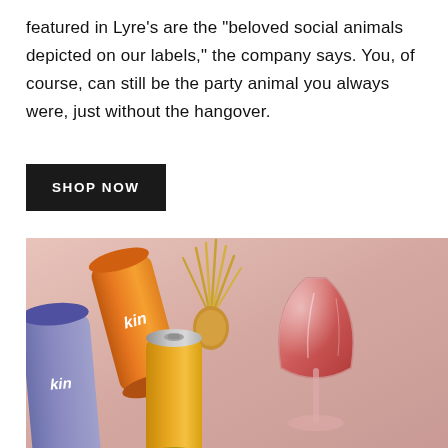featured in Lyre's are the "beloved social animals depicted on our labels," the company says. You, of course, can still be the party animal you always were, just without the hangover.
SHOP NOW
[Figure (photo): Product photo showing Kin non-alcoholic canned drinks in purple/silver and yellow/orange cans, with a pineapple top decoration and a coupe glass filled with a red/pink cocktail, set against a soft pink background.]